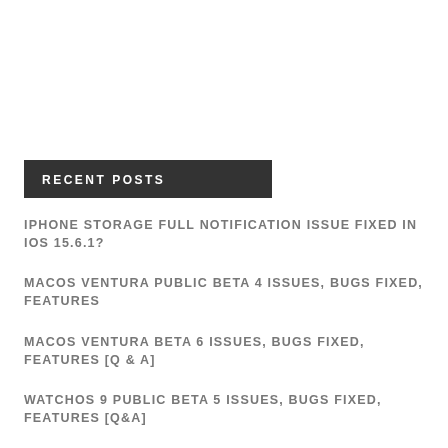RECENT POSTS
IPHONE STORAGE FULL NOTIFICATION ISSUE FIXED IN IOS 15.6.1?
MACOS VENTURA PUBLIC BETA 4 ISSUES, BUGS FIXED, FEATURES
MACOS VENTURA BETA 6 ISSUES, BUGS FIXED, FEATURES [Q & A]
WATCHOS 9 PUBLIC BETA 5 ISSUES, BUGS FIXED, FEATURES [Q&A]
MACBOOK FAN DOESN'T STOP RUNNING? WON'T TURN OFF? (FIXED!)